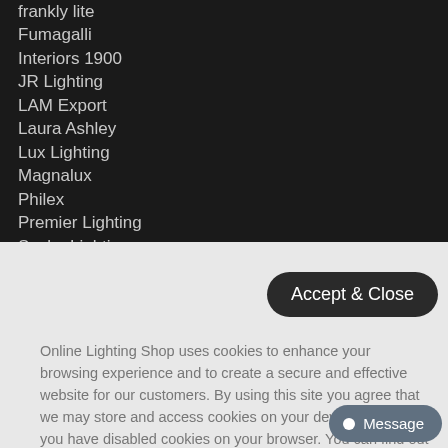frankly lite
Fumagalli
Interiors 1900
JR Lighting
LAM Export
Laura Ashley
Lux Lighting
Magnalux
Philex
Premier Lighting
Saxby Lighting
Searchlight
Important Information Regarding Cookies
Accept & Close
Online Lighting Shop uses cookies to enhance your browsing experience and to create a secure and effective website for our customers. By using this site you agree that we may store and access cookies on your devices, unless you have disabled cookies on your browser. You can find out more on our cookie policy here
Message